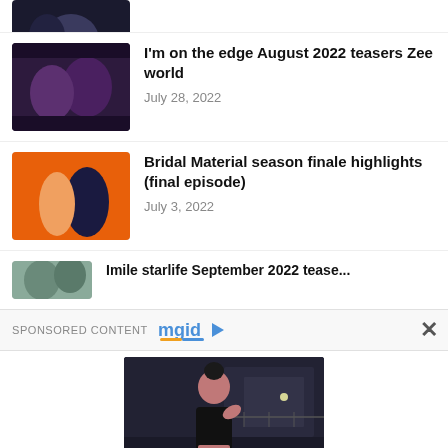[Figure (photo): Partial thumbnail of a person in dark clothing, cropped at top]
[Figure (photo): Indian woman with jewelry and a man, drama scene thumbnail]
I'm on the edge August 2022 teasers Zee world
July 28, 2022
[Figure (photo): Couple on orange background, Bridal Material series thumbnail]
Bridal Material season finale highlights (final episode)
July 3, 2022
[Figure (photo): Partially visible blurred thumbnail for Imile starlife September 2022 teasers]
Imile starlife September 2022 tease...
SPONSORED CONTENT
[Figure (logo): MGID logo with play button icon]
[Figure (photo): Woman in black outfit standing outdoors at night, sponsored advertisement]
Her Curves Are Impressive Even In A T-shirt